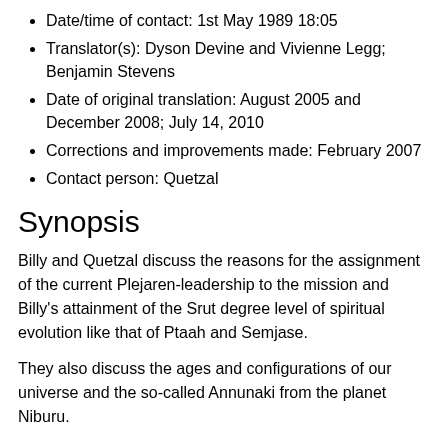Date/time of contact: 1st May 1989 18:05
Translator(s): Dyson Devine and Vivienne Legg; Benjamin Stevens
Date of original translation: August 2005 and December 2008; July 14, 2010
Corrections and improvements made: February 2007
Contact person: Quetzal
Synopsis
Billy and Quetzal discuss the reasons for the assignment of the current Plejaren-leadership to the mission and Billy's attainment of the Srut degree level of spiritual evolution like that of Ptaah and Semjase.
They also discuss the ages and configurations of our universe and the so-called Annunaki from the planet Niburu.